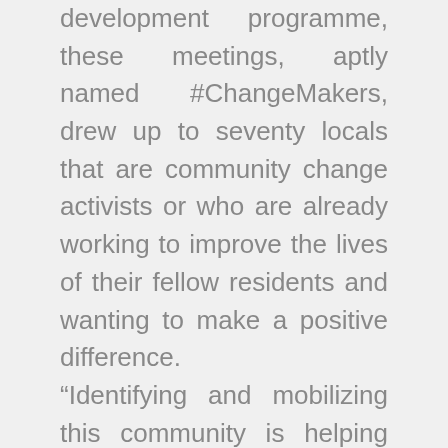development programme, these meetings, aptly named #ChangeMakers, drew up to seventy locals that are community change activists or who are already working to improve the lives of their fellow residents and wanting to make a positive difference. “Identifying and mobilizing this community is helping people to gain control over their lives. Our role is to help their vision and support the goals through our programmes that fund local upliftment and sustainable